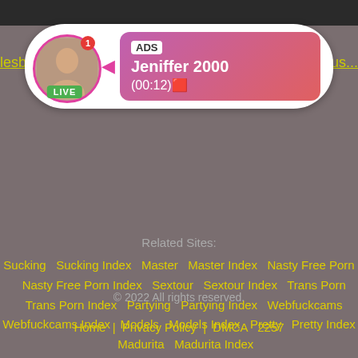[Figure (screenshot): Advertisement card overlay with avatar, LIVE badge, ADS label and user info 'Jeniffer 2000 (00:12)' on pink gradient background]
lesbi...
ous...
Related Sites:
Sucking   Sucking Index   Master   Master Index   Nasty Free Porn   Nasty Free Porn Index   Sextour   Sextour Index   Trans Porn   Trans Porn Index   Partying   Partying Index   Webfuckcams   Webfuckcams Index   Models   Models Index   Pretty   Pretty Index   Madurita   Madurita Index
© 2022 All rights reserved.
Home   Privacy Policy   DMCA   2257